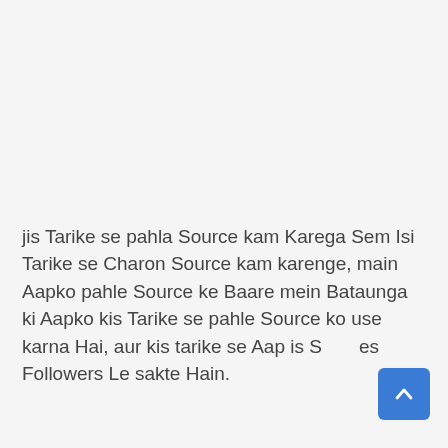jis Tarike se pahla Source kam Karega Sem Isi Tarike se Charon Source kam karenge, main Aapko pahle Source ke Baare mein Bataunga ki Aapko kis Tarike se pahle Source ko use karna Hai, aur kis tarike se Aap is S...es Followers Le sakte Hain.